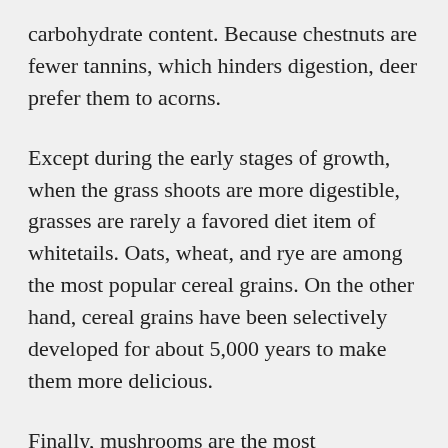carbohydrate content. Because chestnuts are fewer tannins, which hinders digestion, deer prefer them to acorns.
Except during the early stages of growth, when the grass shoots are more digestible, grasses are rarely a favored diet item of whitetails. Oats, wheat, and rye are among the most popular cereal grains. On the other hand, cereal grains have been selectively developed for about 5,000 years to make them more delicious.
Finally, mushrooms are the most underappreciated delicacy among deer. Phosphorus, the second most important element, is found in mushrooms and protein.